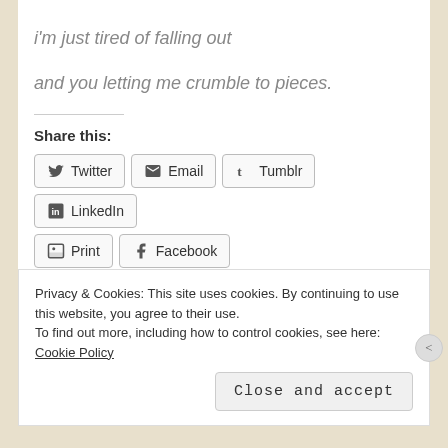i'm just tired of falling out
and you letting me crumble to pieces.
Share this:
Twitter | Email | Tumblr | LinkedIn | Print | Facebook
[Figure (other): Like button with star icon and 4 blogger avatars]
4 bloggers like this.
Privacy & Cookies: This site uses cookies. By continuing to use this website, you agree to their use. To find out more, including how to control cookies, see here: Cookie Policy
Close and accept